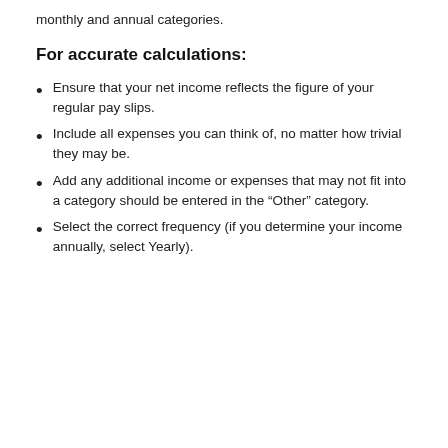monthly and annual categories.
For accurate calculations:
Ensure that your net income reflects the figure of your regular pay slips.
Include all expenses you can think of, no matter how trivial they may be.
Add any additional income or expenses that may not fit into a category should be entered in the “Other” category.
Select the correct frequency (if you determine your income annually, select Yearly).